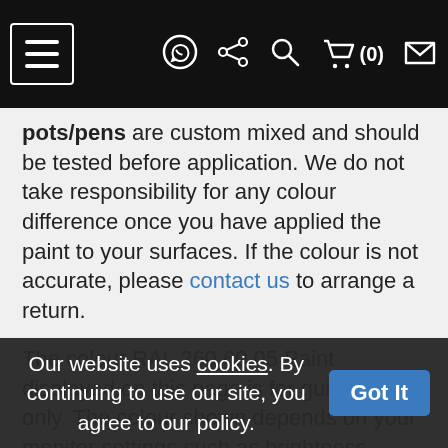[Navigation bar with hamburger menu, WhatsApp icon, share icon, search icon, cart (0) icon, envelope icon]
pots/pens are custom mixed and should be tested before application. We do not take responsibility for any colour difference once you have applied the paint to your surfaces. If the colour is not accurate, please contact us to arrange a return.
The colour RAL 260 60 05 Paint displayed on this page is for guidance only. The colour shown depends on your monitor settings such as brightness, contrast and resolution. The finished paint colour you receive, therefore, may not be as exact as depicted on a screen. Some colours may vary upto 20% compared whats displayed on a screen due to this reason.
Our website uses cookies. By continuing to use our site, you agree to our policy. Got It